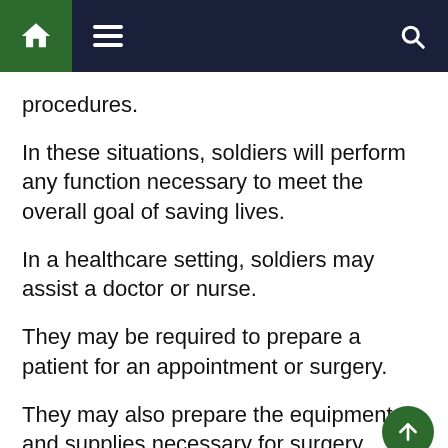Navigation bar with home, menu, and search icons
procedures.
In these situations, soldiers will perform any function necessary to meet the overall goal of saving lives.
In a healthcare setting, soldiers may assist a doctor or nurse.
They may be required to prepare a patient for an appointment or surgery.
They may also prepare the equipment and supplies necessary for surgery.
Specialists will prep and clean a room after a patient vi…